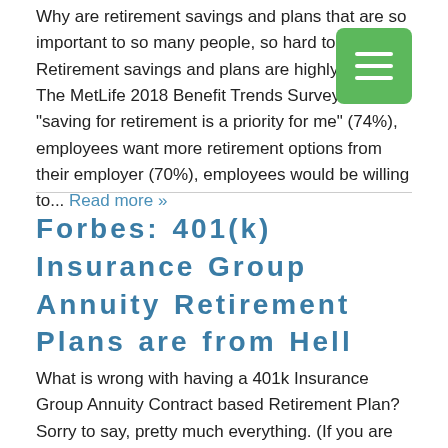Why are retirement savings and plans that are so important to so many people, so hard to find? Retirement savings and plans are highly valued. The MetLife 2018 Benefit Trends Survey found “saving for retirement is a priority for me” (74%), employees want more retirement options from their employer (70%), employees would be willing to... Read more »
[Figure (infographic): Green square button with three horizontal white lines (hamburger menu icon)]
Forbes: 401(k) Insurance Group Annuity Retirement Plans are from Hell
What is wrong with having a 401k Insurance Group Annuity Contract based Retirement Plan? Sorry to say, pretty much everything. (If you are working with an Insurance company for your 401k you have one of these.) Administrative fees are higher and there are more of